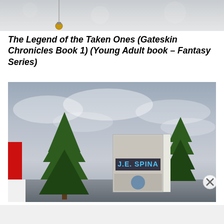[Figure (photo): Top partial photo showing a light gray background with a small gold Christmas ornament partially visible at the bottom]
The Legend of the Taken Ones (Gateskin Chronicles Book 1) (Young Adult book – Fantasy Series)
[Figure (photo): Photo of a book titled J.E. SPINA with pine tree branches in the foreground and a cloudy sky background. A Santa hat is partially visible on the left edge.]
Advertisements